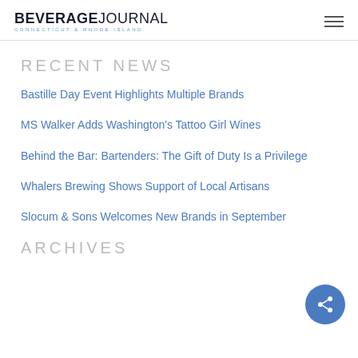BEVERAGE JOURNAL — CONNECTICUT & RHODE ISLAND
RECENT NEWS
Bastille Day Event Highlights Multiple Brands
MS Walker Adds Washington's Tattoo Girl Wines
Behind the Bar: Bartenders: The Gift of Duty Is a Privilege
Whalers Brewing Shows Support of Local Artisans
Slocum & Sons Welcomes New Brands in September
ARCHIVES